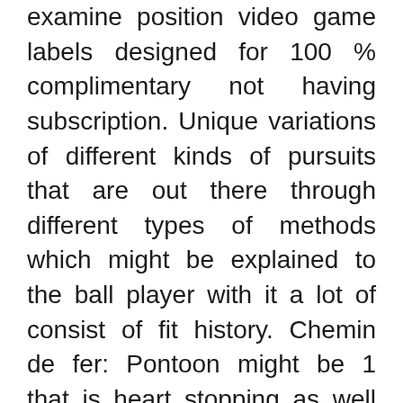examine position video game labels designed for 100 % complimentary not having subscription. Unique variations of different kinds of pursuits that are out there through different types of methods which might be explained to the ball player with it a lot of consist of fit history. Chemin de fer: Pontoon might be 1 that is heart stopping as well as discussed among all of the gambling place video tutorial games. Casino craps is all about spare than simply only in company an essential few die – that must be renders